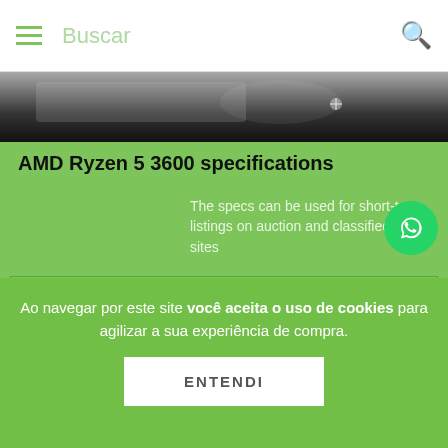Buscar
[Figure (photo): Product image strip, dark background with partial product visible]
AMD Ryzen 5 3600 specifications
The specs can be used for short-term listings on auction and classifieds sites
| General information |  |
| Type | CPU / Microprocessor |
| Market segment | Desktop |
Ao navegar por este site você aceita o uso de cookies para agilizar a sua experiência de compra.
ENTENDI